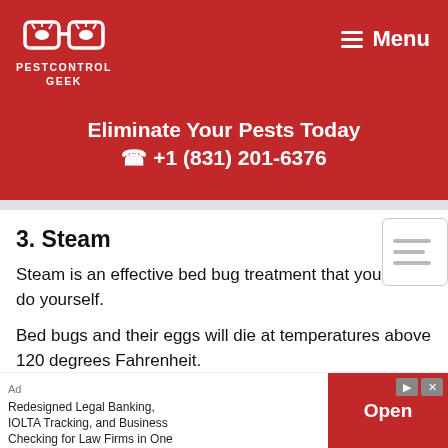[Figure (logo): PestControlGeek logo with glasses icon and text 'PESTCONTROL GEEK' on red background]
Menu
Eliminate Your Pests Today
☎ +1 (831) 201-6376
3. Steam
Steam is an effective bed bug treatment that you can do yourself.
Bed bugs and their eggs will die at temperatures above 120 degrees Fahrenheit.
Most steamers can reach up to 240 degrees
[Figure (other): Table of contents thumbnail icon]
Ad  Redesigned Legal Banking, IOLTA Tracking, and Business Checking for Law Firms in One Place  Open